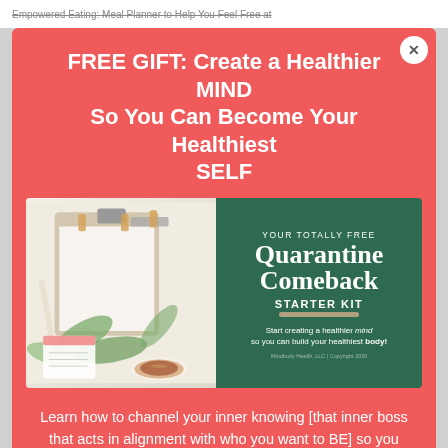Empowered Eating: Meal Planner to Help You Feel Free at
FREE GIFT: Create a Healthier MIND So You Can Become Your Healthiest SELF
[Figure (photo): Promotional image split into two halves: left side shows a desk flatlay with clipboard, eucalyptus leaves, a spiral calendar, and a latte; right side is a dark green panel titled 'YOUR TOTALLY FREE Quarantine Comeback STARTER KIT' with tagline 'Start creating a healthier mind so you can build your healthiest body!']
Learn how to channel your inner knowing [that inner boss that acts in alignment with who you want to BE] so you can create outer balance in your life.